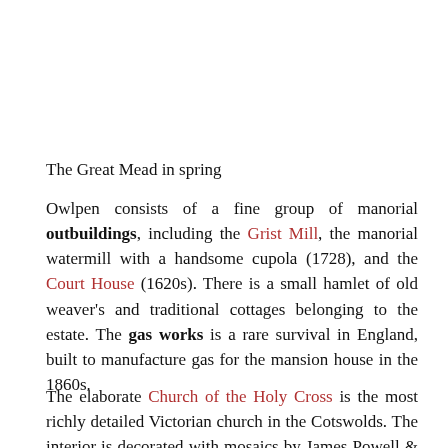The Great Mead in spring
Owlpen consists of a fine group of manorial outbuildings, including the Grist Mill, the manorial watermill with a handsome cupola (1728), and the Court House (1620s). There is a small hamlet of old weaver's and traditional cottages belonging to the estate. The gas works is a rare survival in England, built to manufacture gas for the mansion house in the 1860s.
The elaborate Church of the Holy Cross is the most richly detailed Victorian church in the Cotswolds. The interior is decorated with mosaics by James Powell & Sons of 1886 and